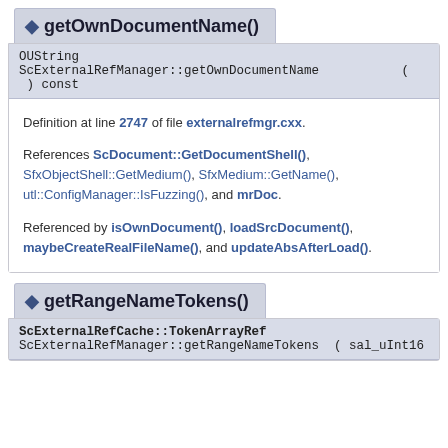getOwnDocumentName()
OUString
ScExternalRefManager::getOwnDocumentName    ( ) const
Definition at line 2747 of file externalrefmgr.cxx.
References ScDocument::GetDocumentShell(), SfxObjectShell::GetMedium(), SfxMedium::GetName(), utl::ConfigManager::IsFuzzing(), and mrDoc.
Referenced by isOwnDocument(), loadSrcDocument(), maybeCreateRealFileName(), and updateAbsAfterLoad().
getRangeNameTokens()
ScExternalRefCache::TokenArrayRef
ScExternalRefManager::getRangeNameTokens ( sal_uInt16